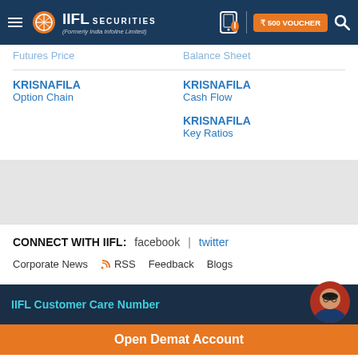IIFL Securities (Formerly India Infoline Limited) — ₹500 VOUCHER
Futures Price | Balance Sheet
KRISNAFILA Option Chain
KRISNAFILA Cash Flow
KRISNAFILA Key Ratios
CONNECT WITH IIFL: facebook | twitter
Corporate News  RSS  Feedback  Blogs
IIFL Customer Care Number
Open Demat Account